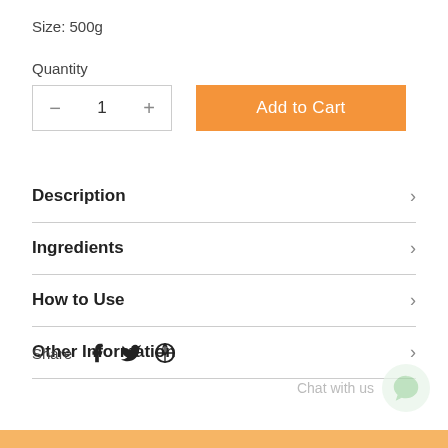Size: 500g
Quantity
1
Add to Cart
Description
Ingredients
How to Use
Other Information
Share
Chat with us